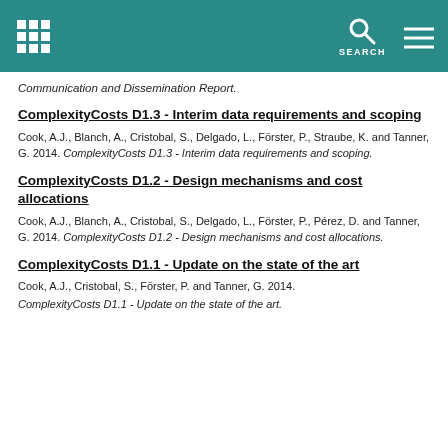SEARCH
Communication and Dissemination Report.
ComplexityCosts D1.3 - Interim data requirements and scoping
Cook, A.J., Blanch, A., Cristobal, S., Delgado, L., Förster, P., Straube, K. and Tanner, G. 2014. ComplexityCosts D1.3 - Interim data requirements and scoping.
ComplexityCosts D1.2 - Design mechanisms and cost allocations
Cook, A.J., Blanch, A., Cristobal, S., Delgado, L., Förster, P., Pérez, D. and Tanner, G. 2014. ComplexityCosts D1.2 - Design mechanisms and cost allocations.
ComplexityCosts D1.1 - Update on the state of the art
Cook, A.J., Cristobal, S., Förster, P. and Tanner, G. 2014. ComplexityCosts D1.1 - Update on the state of the art.